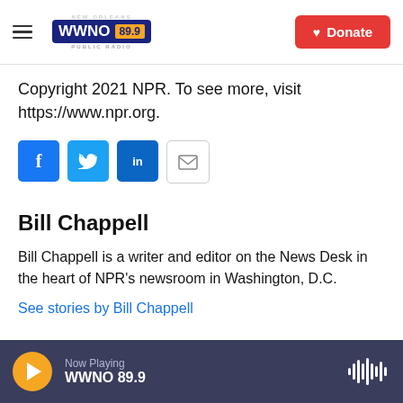WWNO 89.9 New Orleans Public Radio — Donate
Copyright 2021 NPR. To see more, visit https://www.npr.org.
[Figure (other): Social sharing buttons: Facebook, Twitter, LinkedIn, Email]
Bill Chappell
Bill Chappell is a writer and editor on the News Desk in the heart of NPR's newsroom in Washington, D.C.
See stories by Bill Chappell
Now Playing WWNO 89.9